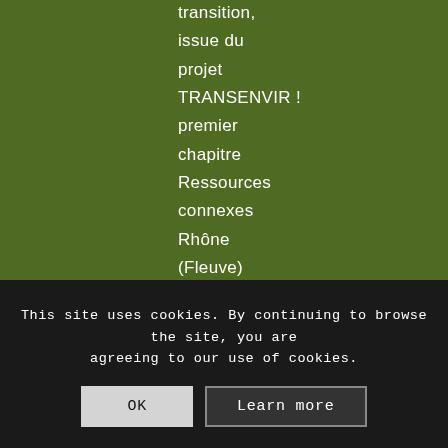transition, issue du projet TRANSENVIR ! premier chapitre Ressources connexes Rhône (Fleuve) Tract du Bureau d'hygiène de
This site uses cookies. By continuing to browse the site, you are agreeing to our use of cookies.